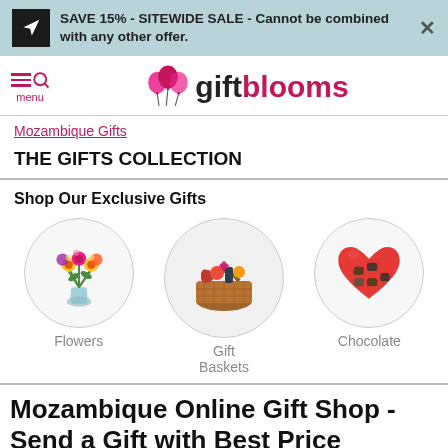SAVE 15% - SITEWIDE SALE - Cannot be combined with any other offer.
[Figure (logo): GiftBlooms logo with balloon icons and text 'giftblooms']
Mozambique Gifts
THE GIFTS COLLECTION
Shop Our Exclusive Gifts
[Figure (illustration): Three circular category icons: Flowers (bouquet), Gift Baskets (wicker basket with items), Chocolate (heart-shaped box of chocolates)]
Mozambique Online Gift Shop - Send a Gift with Best Price